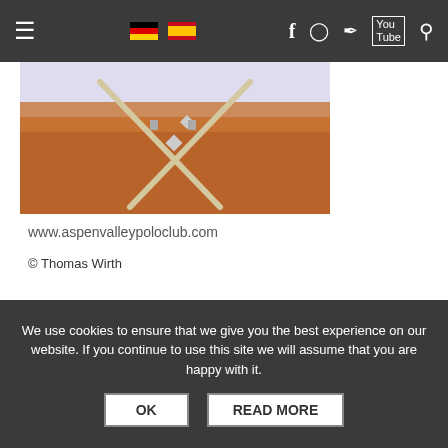Navigation bar with hamburger menu, German and Spanish flags, Facebook, Instagram, Twitter, YouTube, and Search icons
[Figure (photo): Partial photo of polo mallets crossed over a brown polo bag against a light purple/blue background]
www.aspenvalleypoloclub.com
© Thomas Wirth
POLO+10 bei Facebook
Werden Sie Teil der größten Polo-News-Community der Welt bei Facebook.
We use cookies to ensure that we give you the best experience on our website. If you continue to use this site we will assume that you are happy with it.